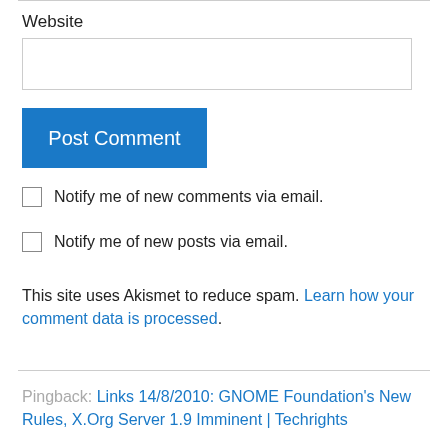Website
Post Comment
Notify me of new comments via email.
Notify me of new posts via email.
This site uses Akismet to reduce spam. Learn how your comment data is processed.
Pingback: Links 14/8/2010: GNOME Foundation's New Rules, X.Org Server 1.9 Imminent | Techrights